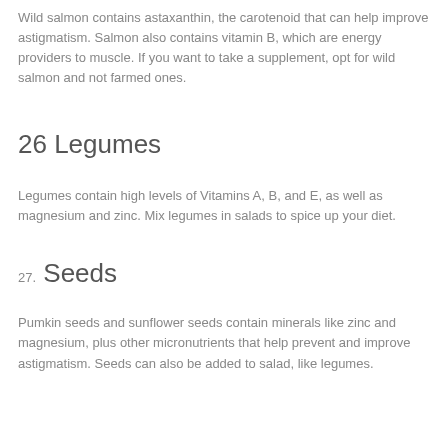Wild salmon contains astaxanthin, the carotenoid that can help improve astigmatism. Salmon also contains vitamin B, which are energy providers to muscle. If you want to take a supplement, opt for wild salmon and not farmed ones.
26 Legumes
Legumes contain high levels of Vitamins A, B, and E, as well as magnesium and zinc. Mix legumes in salads to spice up your diet.
27. Seeds
Pumkin seeds and sunflower seeds contain minerals like zinc and magnesium, plus other micronutrients that help prevent and improve astigmatism. Seeds can also be added to salad, like legumes.